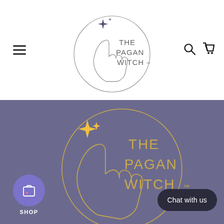[Figure (logo): The Pagan Witch logo — circular outline with a hand reaching upward, dark purple 4-pointed star, text 'THE PAGAN WITCH' in light grey sans-serif, on white background]
[Figure (logo): The Pagan Witch hero logo — same design but with gold/yellow coloring on a muted periwinkle/purple background, larger version]
SHOP
Chat with us